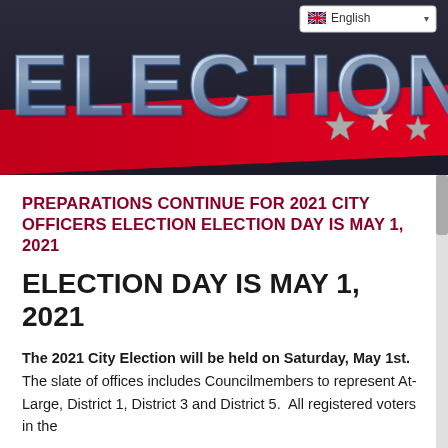[Figure (photo): Elections banner image showing large 3D blue metallic letters spelling ELECTIONS on a gray/dark background with a red stripe and silver stars. A language selector pill showing a UK flag and 'English' text with a dropdown arrow appears in the top-right corner.]
PREPARATIONS CONTINUE FOR 2021 CITY OFFICERS ELECTION ELECTION DAY IS MAY 1, 2021
ELECTION DAY IS MAY 1, 2021
The 2021 City Election will be held on Saturday, May 1st.  The slate of offices includes Councilmembers to represent At-Large, District 1, District 3 and District 5.  All registered voters in the